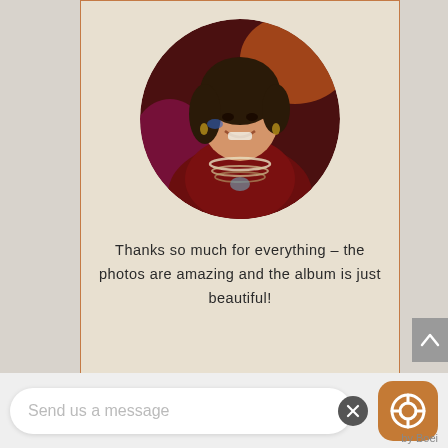[Figure (photo): Circular portrait photo of a smiling woman wearing a dark red costume with beaded necklaces and face paint, at a party event]
Thanks so much for everything – the photos are amazing and the album is just beautiful!
NICOLA & GARY
25th WEDDING ANNIVERSARY PARTY
Send us a message
by Boei